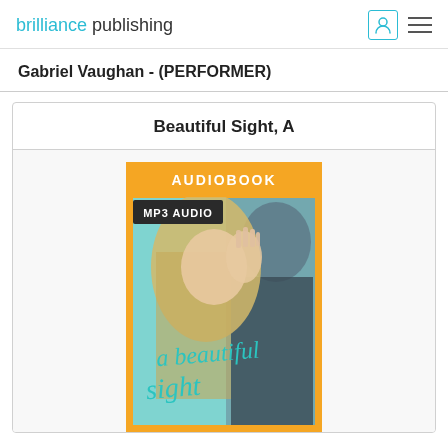brilliance publishing
Gabriel Vaughan - (PERFORMER)
Beautiful Sight, A
[Figure (illustration): Audiobook cover for 'A Beautiful Sight' showing a woman with blonde hair and a man in a dark suit almost kissing, with orange border, 'AUDIOBOOK' text at top in orange, 'MP3 AUDIO' badge, and teal cursive text 'a beautiful sight' at bottom]